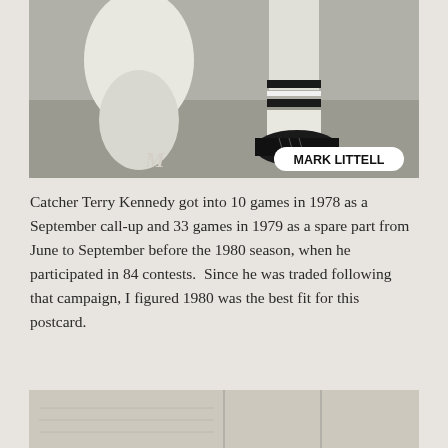[Figure (photo): Black and white photo showing lower body of baseball player kneeling, wearing striped socks and cleats. A label in the lower center reads 'MARK LITTELL' with an 'M' logo on the lower left.]
Catcher Terry Kennedy got into 10 games in 1978 as a September call-up and 33 games in 1979 as a spare part from June to September before the 1980 season, when he participated in 84 contests.  Since he was traded following that campaign, I figured 1980 was the best fit for this postcard.
[Figure (photo): Partial view of a postcard back or card, showing a light beige divided surface with vertical lines.]